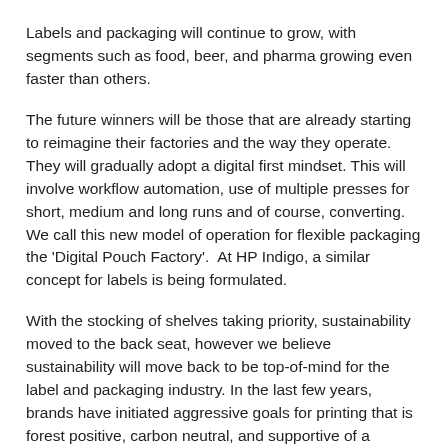Labels and packaging will continue to grow, with segments such as food, beer, and pharma growing even faster than others.
The future winners will be those that are already starting to reimagine their factories and the way they operate. They will gradually adopt a digital first mindset. This will involve workflow automation, use of multiple presses for short, medium and long runs and of course, converting. We call this new model of operation for flexible packaging the 'Digital Pouch Factory'.  At HP Indigo, a similar concept for labels is being formulated.
With the stocking of shelves taking priority, sustainability moved to the back seat, however we believe sustainability will move back to be top-of-mind for the label and packaging industry. In the last few years, brands have initiated aggressive goals for printing that is forest positive, carbon neutral, and supportive of a circular economy, and for this